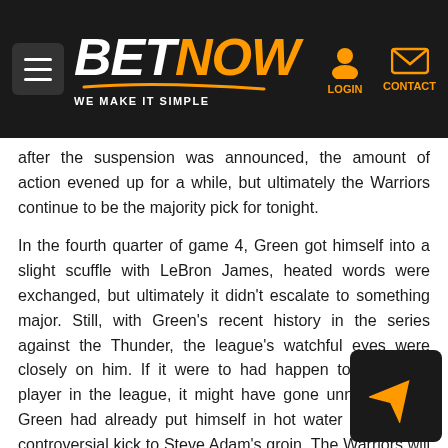BETNOW — WE MAKE IT SIMPLE
after the suspension was announced, the amount of action evened up for a while, but ultimately the Warriors continue to be the majority pick for tonight.
In the fourth quarter of game 4, Green got himself into a slight scuffle with LeBron James, heated words were exchanged, but ultimately it didn't escalate to something major. Still, with Green's recent history in the series against the Thunder, the league's watchful eyes were closely on him. If it were to had happen to any other player in the league, it might have gone unnoticed, but Green had already put himself in hot water after a still controversial kick to Steve Adam's groin. The Warriors will have a real challenge at hand to beat the Cavaliers, minus one of their star players. Granted, Curry and Klay could continue their momentum and torch the ring from three point land, but Green's physical presence on the inside is a fundamental factor for them.
[Figure (other): Navigation arrow widget, dark background with orange arrow pointing up-right]